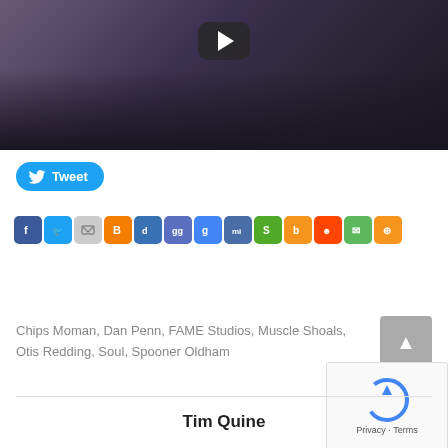[Figure (screenshot): Video thumbnail showing a man near a microphone with a dark purple/black background and a YouTube-style play button overlay]
[Figure (screenshot): Twitter Tweet button (blue rounded rectangle with bird icon and 'Tweet' text)]
[Figure (screenshot): Row of social sharing icon buttons: Facebook, Twitter, Email, Blogger, Delicious, Google, Google+, Myspace, StumbleUpon, BuzzLogic, Reddit, Comments, RSS]
Chips Moman, Dan Penn, FAME Studios, Muscle Shoals, Otis Redding, Soul, Spooner Oldham
Tim Quine